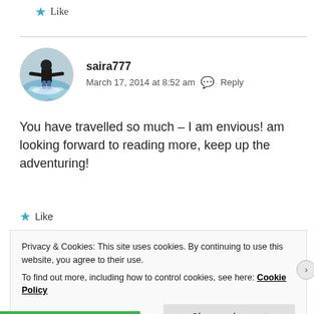★ Like
[Figure (photo): Circular avatar photo of a person surfing/standing in water, wearing dark clothing and a helmet, with splashing water around them]
saira777
March 17, 2014 at 8:52 am  Reply
You have travelled so much – I am envious! am looking forward to reading more, keep up the adventuring!
★ Like
Privacy & Cookies: This site uses cookies. By continuing to use this website, you agree to their use.
To find out more, including how to control cookies, see here: Cookie Policy
Close and accept